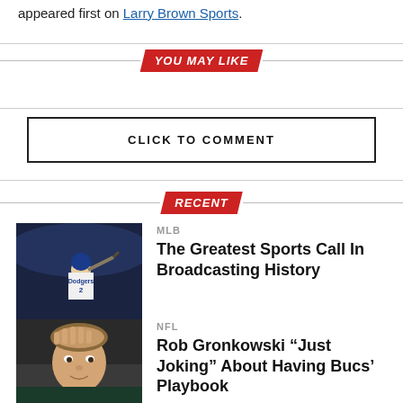appeared first on Larry Brown Sports.
YOU MAY LIKE
CLICK TO COMMENT
RECENT
[Figure (photo): Baseball player in Dodgers uniform batting]
MLB
The Greatest Sports Call In Broadcasting History
[Figure (photo): NFL player Rob Gronkowski with hand on head]
NFL
Rob Gronkowski “Just Joking” About Having Bucs’ Playbook